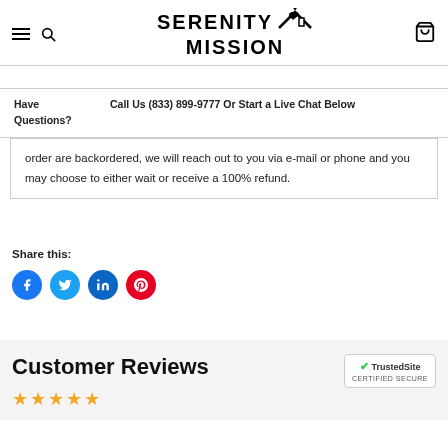[Figure (logo): Serenity Mission logo with house/roof graphic and heart symbol]
Have Questions?
Call Us (833) 899-9777 Or Start a Live Chat Below
order are backordered, we will reach out to you via e-mail or phone and you may choose to either wait or receive a 100% refund.
Share this:
[Figure (illustration): Social media share icons: Facebook, Twitter, LinkedIn, Pinterest]
Customer Reviews
[Figure (other): TrustedSite Certified Secure badge]
[Figure (other): Star rating row, partially visible]